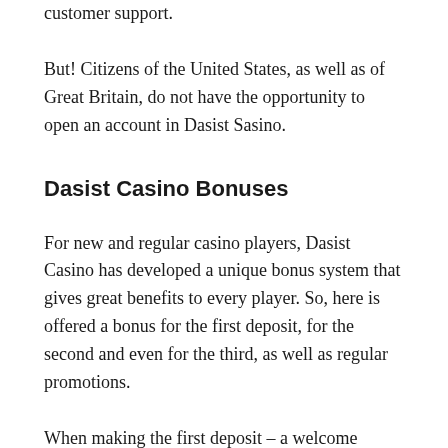customer support.
But! Citizens of the United States, as well as of Great Britain, do not have the opportunity to open an account in Dasist Sasino.
Dasist Casino Bonuses
For new and regular casino players, Dasist Casino has developed a unique bonus system that gives great benefits to every player. So, here is offered a bonus for the first deposit, for the second and even for the third, as well as regular promotions.
When making the first deposit – a welcome bonus of 100% on the deposit amount, up to 1.5 BTC or 1500 EUR, as well as 100 free spins.
Bonus for the second deposit is 100% of the amount, up to